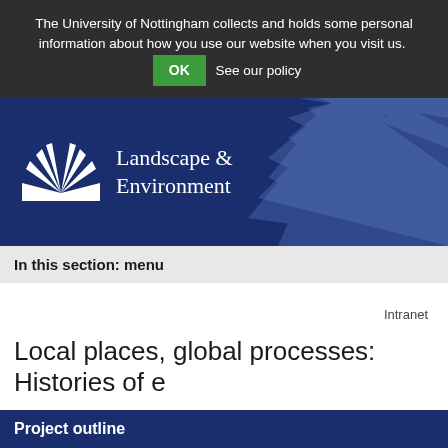The University of Nottingham collects and holds some personal information about how you use our website when you visit us. OK See our policy
[Figure (logo): University of Nottingham Landscape & Environment logo with white sunburst/book icon and text on dark blue background with decorative sunburst rays on the right]
In this section: menu
Intranet
Local places, global processes: Histories of e
Project outline